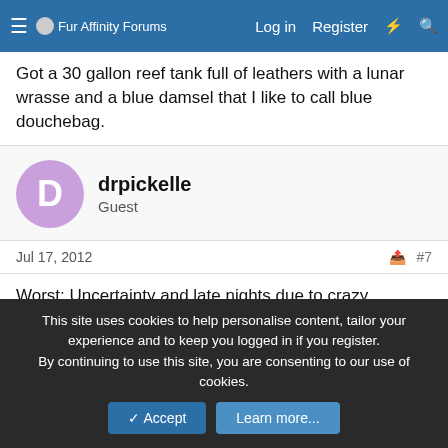Fur Affinity Forums — Log in  Register
Got a 30 gallon reef tank full of leathers with a lunar wrasse and a blue damsel that I like to call blue douchebag.
drpickelle
Guest
Jul 17, 2012  #7
Worst: Uncertainty and late nights due to crazy deadlines I set for myself.
Best: Make my own hours-- wear PJs. :V
Unsilenced
Mentlegen
This site uses cookies to help personalise content, tailor your experience and to keep you logged in if you register.
By continuing to use this site, you are consenting to our use of cookies.
Accept  Learn more...